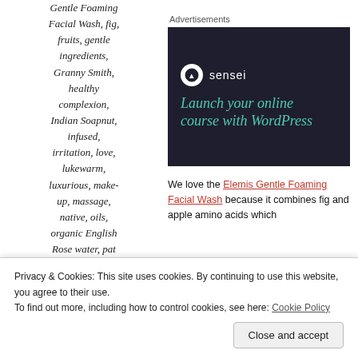Gentle Foaming Facial Wash, fig, fruits, gentle ingredients, Granny Smith, healthy complexion, Indian Soapnut, infused, irritation, love, lukewarm, luxurious, make-up, massage, native, oils, organic English Rose water, pat
Advertisements
[Figure (other): Sensei advertisement banner with dark background showing logo and text: Launch your online course with WordPress]
We love the Elemis Gentle Foaming Facial Wash because it combines fig and apple amino acids which
Privacy & Cookies: This site uses cookies. By continuing to use this website, you agree to their use. To find out more, including how to control cookies, see here: Cookie Policy
Close and accept